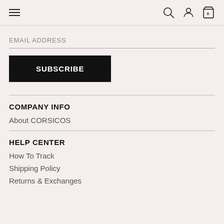Navigation bar with hamburger menu, search, account, and cart icons
EMAIL ADDRESS
SUBSCRIBE
COMPANY INFO
About CORSICOS
HELP CENTER
How To Track
Shipping Policy
Returns & Exchanges